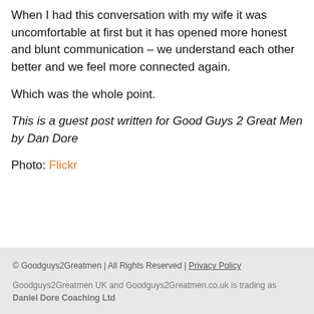When I had this conversation with my wife it was uncomfortable at first but it has opened more honest and blunt communication – we understand each other better and we feel more connected again.
Which was the whole point.
This is a guest post written for Good Guys 2 Great Men by Dan Dore
Photo: Flickr
© Goodguys2Greatmen | All Rights Reserved | Privacy Policy Goodguys2Greatmen UK and Goodguys2Greatmen.co.uk is trading as Daniel Dore Coaching Ltd